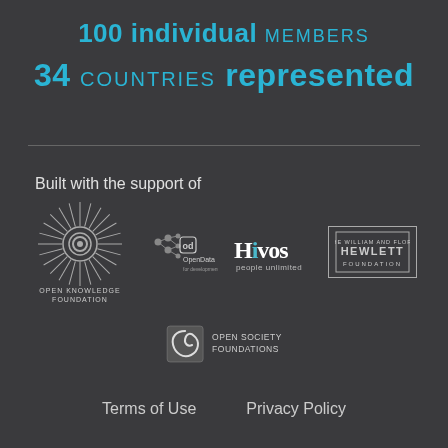100 individual MEMBERS
34 COUNTRIES represented
Built with the support of
[Figure (logo): Open Knowledge Foundation logo - circular starburst design with text OPEN KNOWLEDGE FOUNDATION]
[Figure (logo): OpenData for Development Network logo - circle dots with 'od' and text OpenData]
[Figure (logo): Hivos people unlimited logo - stylized text]
[Figure (logo): The William and Flora Hewlett Foundation logo - text in bordered box]
[Figure (logo): Open Society Foundations logo - spiral symbol with text OPEN SOCIETY FOUNDATIONS]
Terms of Use   Privacy Policy